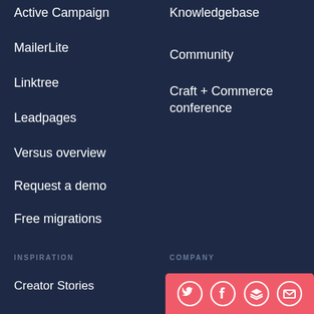Active Campaign
MailerLite
Linktree
Leadpages
Versus overview
Request a demo
Free migrations
Knowledgebase
Community
Craft + Commerce conference
INSPIRATION
COMPANY
Creator Stories
Docuseries
Creator Sessions
About us
Mission, vision, & values
Careers
[Figure (infographic): Social media sharing bar with Twitter, Facebook, Layers/Buffer, and Email icons on a red/pink background]